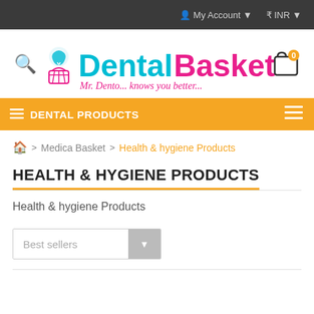My Account ▾   ₹ INR ▾
[Figure (logo): DentalBasket logo with tooth and basket icon, tagline: Mr. Dento... knows you better...]
≡ DENTAL PRODUCTS
⌂ > Medica Basket > Health & hygiene Products
HEALTH & HYGIENE PRODUCTS
Health & hygiene Products
Best sellers ▼